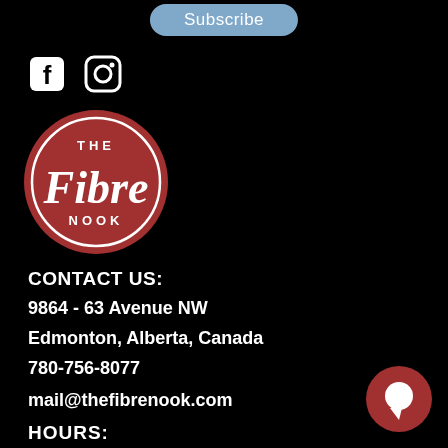Subscribe
[Figure (illustration): Facebook and Instagram social media icons in white on black background]
[Figure (logo): The Fibre Nook logo — circular red badge with white script text reading 'Fibre' and sans-serif 'THE' and 'NOOK']
CONTACT US:
9864 - 63 Avenue NW
Edmonton, Alberta, Canada
780-756-8077
mail@thefibrenook.com
HOURS:
[Figure (illustration): Dark red circular chat/message button icon in bottom right corner]